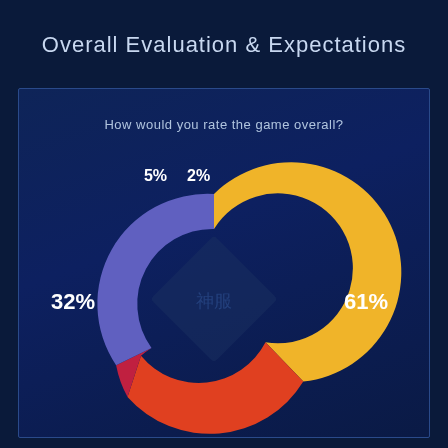Overall Evaluation & Expectations
How would you rate the game overall?
[Figure (donut-chart): How would you rate the game overall?]